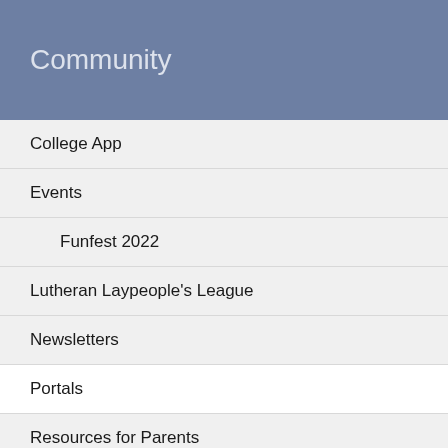Community
College App
Events
Funfest 2022
Lutheran Laypeople's League
Newsletters
Portals
Resources for Parents
Redlands Lutheran Parish
FLCR Events Committee